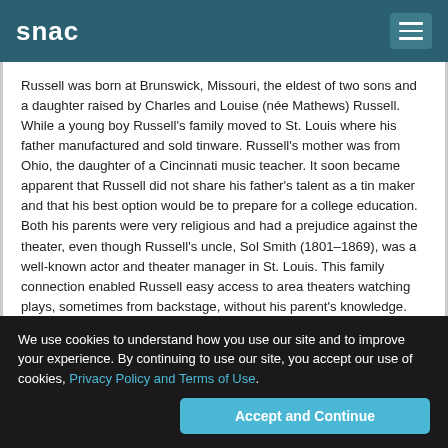snac
Russell was born at Brunswick, Missouri, the eldest of two sons and a daughter raised by Charles and Louise (née Mathews) Russell. While a young boy Russell's family moved to St. Louis where his father manufactured and sold tinware. Russell's mother was from Ohio, the daughter of a Cincinnati music teacher. It soon became apparent that Russell did not share his father's talent as a tin maker and that his best option would be to prepare for a college education. Both his parents were very religious and had a prejudice against the theater, even though Russell's uncle, Sol Smith (1801–1869), was a well-known actor and theater manager in St. Louis. This family connection enabled Russell easy access to area theaters watching plays, sometimes from backstage, without his parent's knowledge.
We use cookies to understand how you use our site and to improve your experience. By continuing to use our site, you accept our use of cookies, Privacy Policy and Terms of Use.